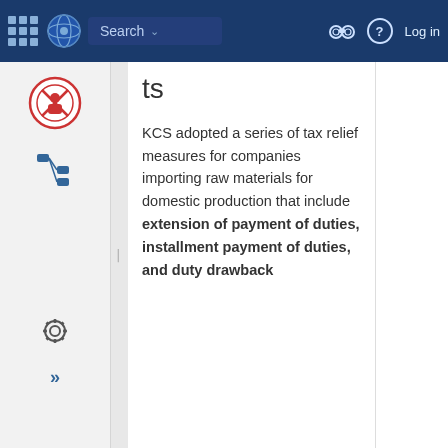Search  Log in
ts
KCS adopted a series of tax relief measures for companies importing raw materials for domestic production that include extension of payment of duties, installment payment of duties, and duty drawback